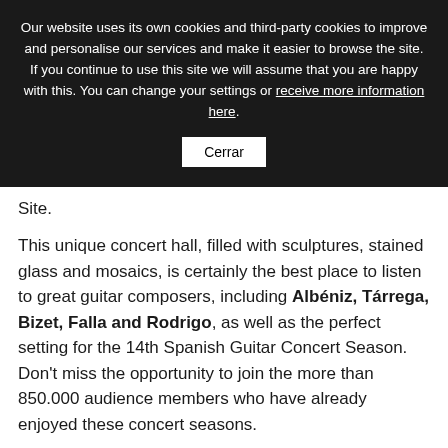Our website uses its own cookies and third-party cookies to improve and personalise our services and make it easier to browse the site. If you continue to use this site we will assume that you are happy with this. You can change your settings or receive more information here.
Cerrar
Site.
This unique concert hall, filled with sculptures, stained glass and mosaics, is certainly the best place to listen to great guitar composers, including Albéniz, Tárrega, Bizet, Falla and Rodrigo, as well as the perfect setting for the 14th Spanish Guitar Concert Season. Don't miss the opportunity to join the more than 850.000 audience members who have already enjoyed these concert seasons.
The concerts feature Manuel González, Xavier Coll, Pedro Javier González, Ekaterina Záytseva, Manuel